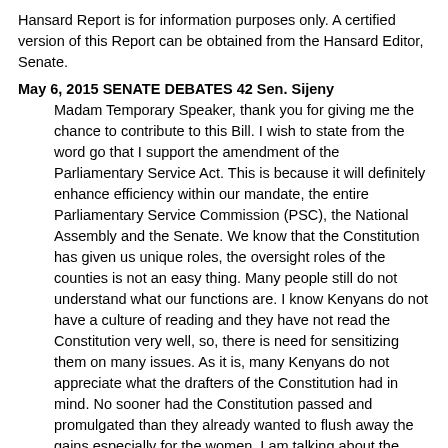Hansard Report is for information purposes only. A certified version of this Report can be obtained from the Hansard Editor, Senate.
May 6, 2015 SENATE DEBATES 42 Sen. Sijeny
Madam Temporary Speaker, thank you for giving me the chance to contribute to this Bill. I wish to state from the word go that I support the amendment of the Parliamentary Service Act. This is because it will definitely enhance efficiency within our mandate, the entire Parliamentary Service Commission (PSC), the National Assembly and the Senate. We know that the Constitution has given us unique roles, the oversight roles of the counties is not an easy thing. Many people still do not understand what our functions are. I know Kenyans do not have a culture of reading and they have not read the Constitution very well, so, there is need for sensitizing them on many issues. As it is, many Kenyans do not appreciate what the drafters of the Constitution had in mind. No sooner had the Constitution passed and promulgated than they already wanted to flush away the gains especially for the women. I am talking about the affirmative action. I am a nominated Senator and I am here on the strength of the Constitution. When we went to Kisumu for a devolution conference, our badges bore our names with the title “nominated women” Our constituency is definitely women. How do we